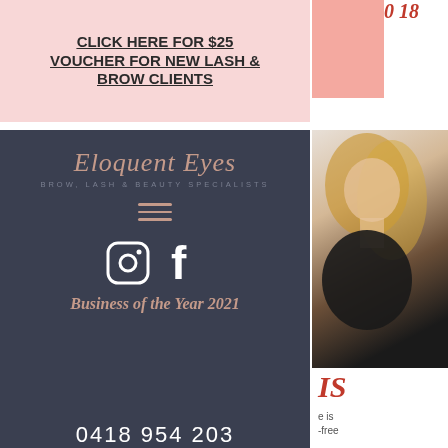CLICK HERE FOR $25 VOUCHER FOR NEW LASH & BROW CLIENTS
[Figure (logo): Eloquent Eyes Brow Lash & Beauty Specialists logo on dark background with script font]
[Figure (illustration): Hamburger menu icon with three lines in rose/salmon color]
[Figure (illustration): Instagram and Facebook social icons in white on dark background]
Business of the Year 2021
0418 954 203
[Figure (photo): Photo of woman with blonde hair wearing black top, partially visible on right side]
IS
e is-free